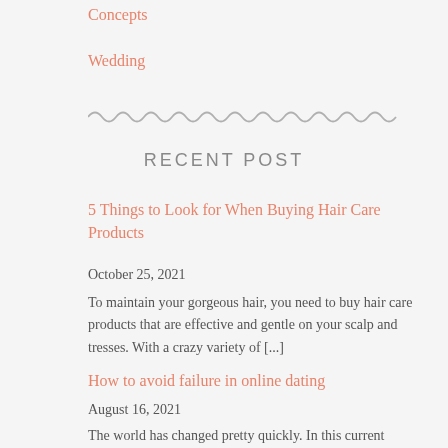Concepts
Wedding
[Figure (illustration): Decorative wavy/zigzag divider line in gray]
RECENT POST
5 Things to Look for When Buying Hair Care Products
October 25, 2021
To maintain your gorgeous hair, you need to buy hair care products that are effective and gentle on your scalp and tresses. With a crazy variety of [...]
How to avoid failure in online dating
August 16, 2021
The world has changed pretty quickly. In this current generation, almost everything can be found online...